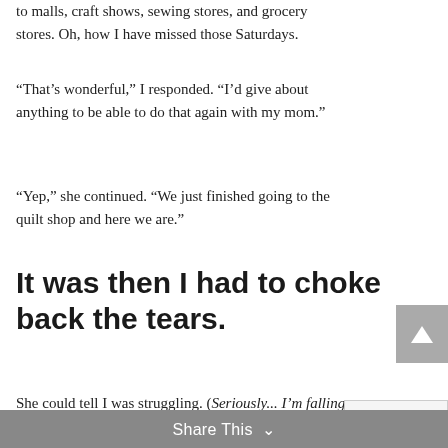to malls, craft shows, sewing stores, and grocery stores. Oh, how I have missed those Saturdays.
“That’s wonderful,” I responded. “I’d give about anything to be able to do that again with my mom.”
“Yep,” she continued. “We just finished going to the quilt shop and here we are.”
It was then I had to choke back the tears.
She could tell I was struggling. (Seriously... I’m falling apart in the grocery check out lane?? This woman must think I’m nuts.)
All I could say was, “I used to do that with my mom too. She loved to quilt.”
“She does too.” Then she mouthed to me,
Share This